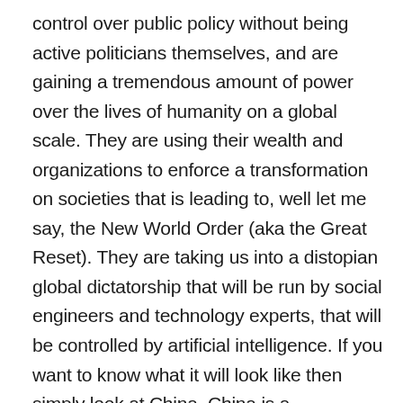control over public policy without being active politicians themselves, and are gaining a tremendous amount of power over the lives of humanity on a global scale. They are using their wealth and organizations to enforce a transformation on societies that is leading to, well let me say, the New World Order (aka the Great Reset). They are taking us into a distopian global dictatorship that will be run by social engineers and technology experts, that will be controlled by artificial intelligence. If you want to know what it will look like then simply look at China. China is a Technocracy that has been the guinea pig and model for working out this fascist system on a population, which is meant for every other nation, and is being emplimented and ushered in before our eyes. Within the last 7 months we have watched the Technocrats bring about global tyranny and